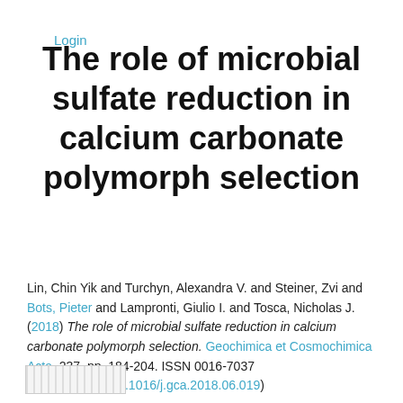Login
The role of microbial sulfate reduction in calcium carbonate polymorph selection
Lin, Chin Yik and Turchyn, Alexandra V. and Steiner, Zvi and Bots, Pieter and Lampronti, Giulio I. and Tosca, Nicholas J. (2018) The role of microbial sulfate reduction in calcium carbonate polymorph selection. Geochimica et Cosmochimica Acta, 237. pp. 184-204. ISSN 0016-7037 (https://doi.org/10.1016/j.gca.2018.06.019)
[Figure (other): Small thumbnail preview image at bottom left]